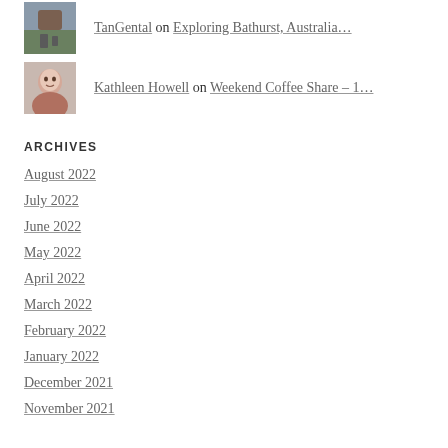[Figure (photo): Avatar photo of TanGental - person walking a dog in a park]
TanGental on Exploring Bathurst, Australia...
[Figure (photo): Avatar photo of Kathleen Howell - woman smiling]
Kathleen Howell on Weekend Coffee Share – 1...
ARCHIVES
August 2022
July 2022
June 2022
May 2022
April 2022
March 2022
February 2022
January 2022
December 2021
November 2021